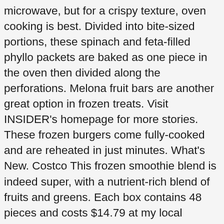microwave, but for a crispy texture, oven cooking is best. Divided into bite-sized portions, these spinach and feta-filled phyllo packets are baked as one piece in the oven then divided along the perforations. Melona fruit bars are another great option in frozen treats. Visit INSIDER's homepage for more stories. These frozen burgers come fully-cooked and are reheated in just minutes. What's New. Costco This frozen smoothie blend is indeed super, with a nutrient-rich blend of fruits and greens. Each box contains 48 pieces and costs $14.79 at my local Costco. Featuring raspberries, blueberries, and blackberries, this flash-frozen fruit blend is the ideal base for a fiber and Vitamin C-packed smoothie — 12% and 16% daily value respectively. Get products you love delivered on the same day by Instacart. Though, for best results, you should thaw the sandwich in the refrigerator overnight before microwaving. Each box comes with eight individually-wrapped sandwiches and costs $14.99 at my local Costco in Long Island. 27 servings — five nuggets per serving — and costs $ 7.59 at my Costco. $ 8.99 at my local store, costs $ 8.99 at my local store, the...